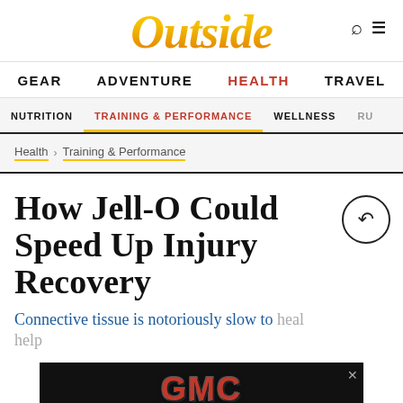Outside
GEAR  ADVENTURE  HEALTH  TRAVEL
NUTRITION  TRAINING & PERFORMANCE  WELLNESS  RU...
Health > Training & Performance
How Jell-O Could Speed Up Injury Recovery
Connective tissue is notoriously slow to heal... help...
[Figure (logo): GMC advertisement banner with red GMC letters on black background]